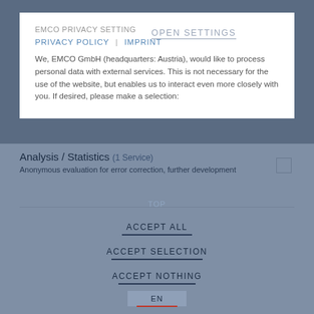EMCO PRIVACY SETTING
OPEN SETTINGS
PRIVACY POLICY  |  IMPRINT
We, EMCO GmbH (headquarters: Austria), would like to process personal data with external services. This is not necessary for the use of the website, but enables us to interact even more closely with you. If desired, please make a selection:
Analysis / Statistics (1 Service)
Anonymous evaluation for error correction, further development
TOP
ACCEPT ALL
ACCEPT SELECTION
ACCEPT NOTHING
EN